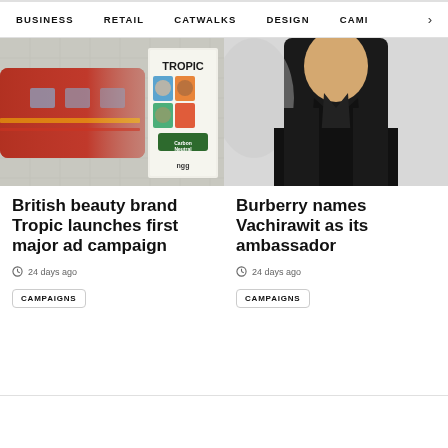BUSINESS   RETAIL   CATWALKS   DESIGN   CAMI  >
[Figure (photo): Blurred London Underground train with Tropic beauty brand advertisement poster on platform wall]
British beauty brand Tropic launches first major ad campaign
24 days ago
CAMPAIGNS
[Figure (photo): Burberry male brand ambassador in black coat against light grey background]
Burberry names Vachirawit as its ambassador
24 days ago
CAMPAIGNS